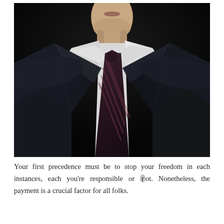[Figure (photo): A man in a dark navy suit with a white dress shirt and a dark striped tie, photographed from the shoulders/chest up against a black background. The man has stubble/beard and his face is partially visible from the chin down.]
Your first precedence must be to stop your freedom in each instances, each you're responsible or rot. Nonetheless, the payment is a crucial factor for all folks.